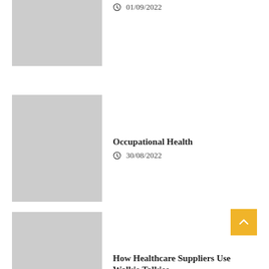[Figure (photo): Gray placeholder image, partial view at top]
01/09/2022
[Figure (photo): Gray placeholder image for Occupational Health article]
Occupational Health
30/08/2022
[Figure (photo): Gray placeholder image for How Healthcare Suppliers Use Walkie Talkies article]
How Healthcare Suppliers Use Walkie Talkies
29/08/2022
[Figure (photo): Gray placeholder image, partial view at bottom]